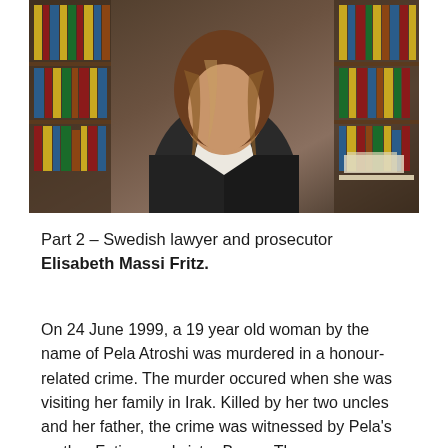[Figure (photo): Portrait photo of a woman with long wavy brown hair, wearing a dark blazer and white top, standing in front of a bookshelf filled with law books in an office setting.]
Part 2 – Swedish lawyer and prosecutor Elisabeth Massi Fritz.
On 24 June 1999, a 19 year old woman by the name of Pela Atroshi was murdered in a honour-related crime. The murder occured when she was visiting her family in Irak. Killed by her two uncles and her father, the crime was witnessed by Pela's mother Fatima and sister Breen. The case was concluded with life time sentences for the two uncles. Pela's father lives in Irak, where Pela is buried in an unmarked grave for bringing dishonour to her